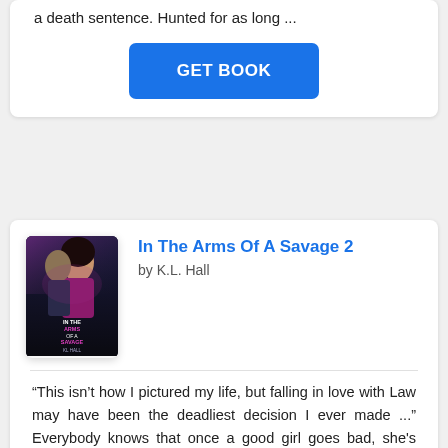a death sentence. Hunted for as long ...
GET BOOK
In The Arms Of A Savage 2
by K.L. Hall
“This isn’t how I pictured my life, but falling in love with Law may have been the deadliest decision I ever made ...” Everybody knows that once a good girl goes bad, she's gone forever. Raquel has always been a good ...